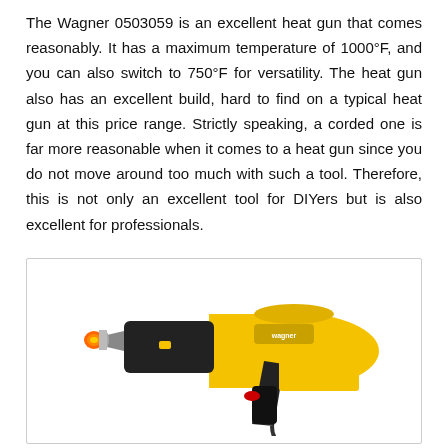The Wagner 0503059 is an excellent heat gun that comes reasonably. It has a maximum temperature of 1000°F, and you can also switch to 750°F for versatility. The heat gun also has an excellent build, hard to find on a typical heat gun at this price range. Strictly speaking, a corded one is far more reasonable when it comes to a heat gun since you do not move around too much with such a tool. Therefore, this is not only an excellent tool for DIYers but is also excellent for professionals.
[Figure (photo): A yellow and black Wagner 0503059 heat gun shown at an angle, with an orange glowing nozzle tip and a red trigger detail visible.]